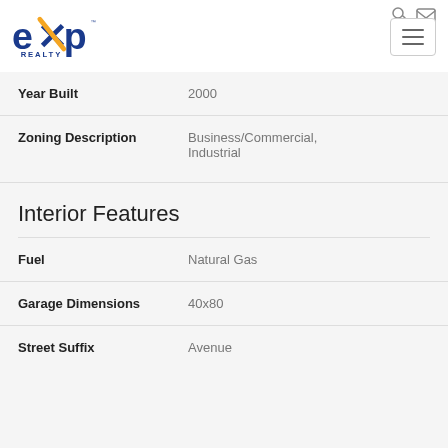[Figure (logo): eXp Realty logo with blue text and orange X]
| Field | Value |
| --- | --- |
| Year Built | 2000 |
| Zoning Description | Business/Commercial, Industrial |
Interior Features
| Field | Value |
| --- | --- |
| Fuel | Natural Gas |
| Garage Dimensions | 40x80 |
| Street Suffix | Avenue |